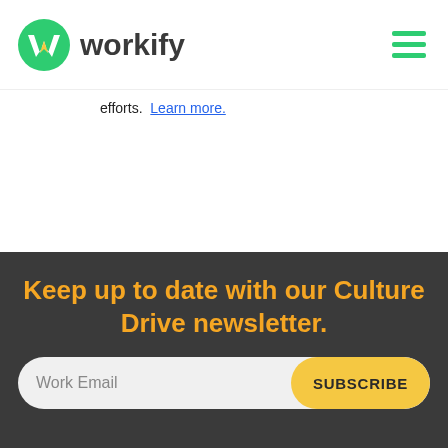workify
efforts.  Learn more.
Keep up to date with our Culture Drive newsletter.
Work Email  SUBSCRIBE